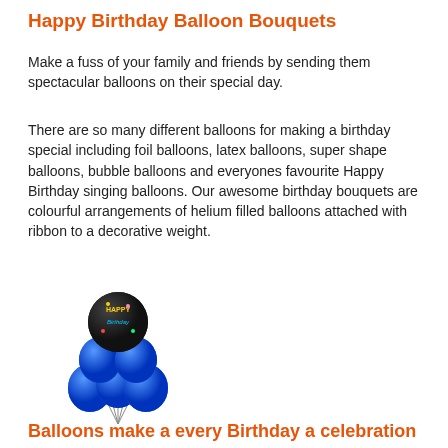Happy Birthday Balloon Bouquets
Make a fuss of your family and friends by sending them spectacular balloons on their special day.
There are so many different balloons for making a birthday special including foil balloons, latex balloons, super shape balloons, bubble balloons and everyones favourite Happy Birthday singing balloons. Our awesome birthday bouquets are colourful arrangements of helium filled balloons attached with ribbon to a decorative weight.
[Figure (photo): A bouquet of blue metallic latex balloons with a 'Happy Birthday' foil balloon on top, attached together with ribbons.]
Balloons make a every Birthday a celebration